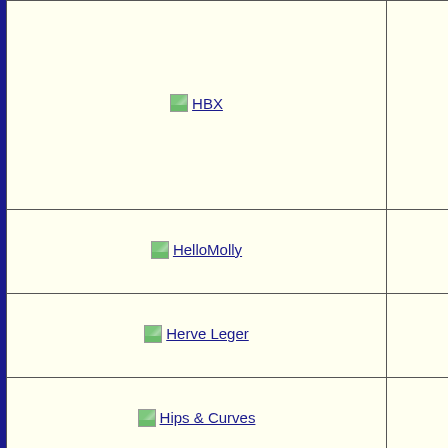[Figure (other): HBX logo/image link in a table cell]
[Figure (other): HelloMolly logo/image link in a table cell]
[Figure (other): Herve Leger logo/image link in a table cell]
[Figure (other): Hips & Curves logo/image link in a table cell]
[Figure (other): Empty bottom table cell with side column]